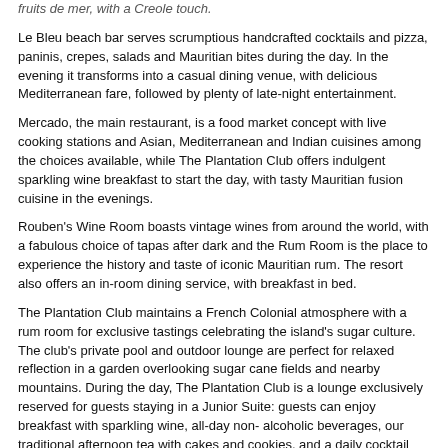fruits de mer, with a Creole touch.
Le Bleu beach bar serves scrumptious handcrafted cocktails and pizza, paninis, crepes, salads and Mauritian bites during the day. In the evening it transforms into a casual dining venue, with delicious Mediterranean fare, followed by plenty of late-night entertainment.
Mercado, the main restaurant, is a food market concept with live cooking stations and Asian, Mediterranean and Indian cuisines among the choices available, while The Plantation Club offers indulgent sparkling wine breakfast to start the day, with tasty Mauritian fusion cuisine in the evenings.
Rouben's Wine Room boasts vintage wines from around the world, with a fabulous choice of tapas after dark and the Rum Room is the place to experience the history and taste of iconic Mauritian rum. The resort also offers an in-room dining service, with breakfast in bed.
The Plantation Club maintains a French Colonial atmosphere with a rum room for exclusive tastings celebrating the island's sugar culture. The club's private pool and outdoor lounge are perfect for relaxed reflection in a garden overlooking sugar cane fields and nearby mountains. During the day, The Plantation Club is a lounge exclusively reserved for guests staying in a Junior Suite: guests can enjoy breakfast with sparkling wine, all-day non-alcoholic beverages, our traditional afternoon tea with cakes and cookies, and a daily cocktail hour. In the evening, the Club converts to a fine dining restaurant open to all and serving modern Creole Gastronomy.
What outdoor facilities and activities are available at the resort?